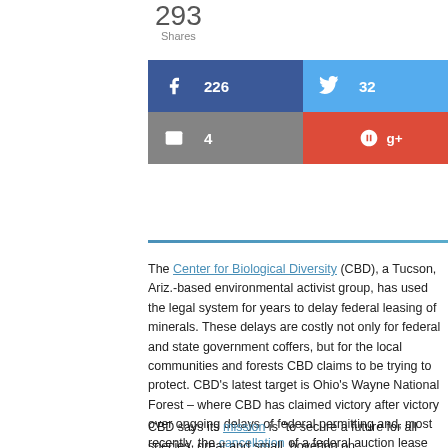293 Shares
[Figure (infographic): Social share buttons: Facebook 226, Twitter 32, Email 4, Google+]
The Center for Biological Diversity (CBD), a Tucson, Ariz.-based environmental activist group, has used the legal system for years to delay federal leasing of minerals. These delays are costly not only for federal and state government coffers, but for the local communities and forests CBD claims to be trying to protect. CBD's latest target is Ohio's Wayne National Forest – where CBD has claimed victory after victory over ongoing delays of federal permitting and, most recently, the cancellation of a federal auction lease sale.
CBD says its mission is "to secure a future for all species, great and small, hovering on